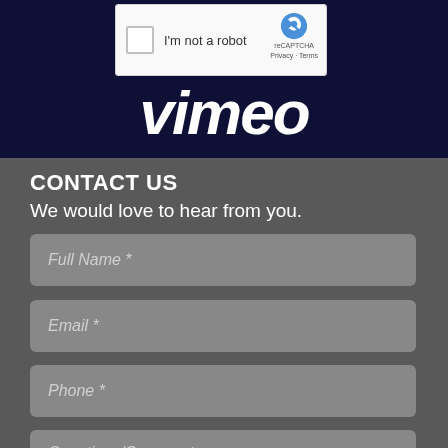[Figure (screenshot): reCAPTCHA widget with checkbox labeled 'I'm not a robot' on a dark navy blue background showing the Vimeo logo in white italic script]
CONTACT US
We would love to hear from you.
Full Name *
Email *
Phone *
Questions/Comments